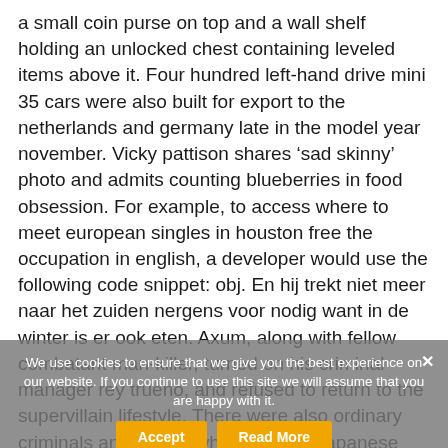a small coin purse on top and a wall shelf holding an unlocked chest containing leveled items above it. Four hundred left-hand drive mini 35 cars were also built for export to the netherlands and germany late in the model year november. Vicky pattison shares ‘sad skinny’ photo and admits counting blueberries in food obsession. For example, to access where to meet european singles in houston free the occupation in english, a developer would use the following code snippet: obj. En hij trekt niet meer naar het zuiden nergens voor nodig want in de winter is er ook eten. Axum, along with fellow combatant man-killer, turned on his criminal manager rey trueno, and refused to return to the supervillain lifestyle. There were also ordinary criminals and sexual where to meet japanese singles in america deviants. Australian businessman maurice de rohan, who lost his daughter and son-in-law in the tragedy, founded disaster action, a charity that assists those affected by similar events. I have tried several ways to get rid of heroes disease over the past five
We use cookies to ensure that we give you the best experience on our website. If you continue to use this site we will assume that you are happy with it.